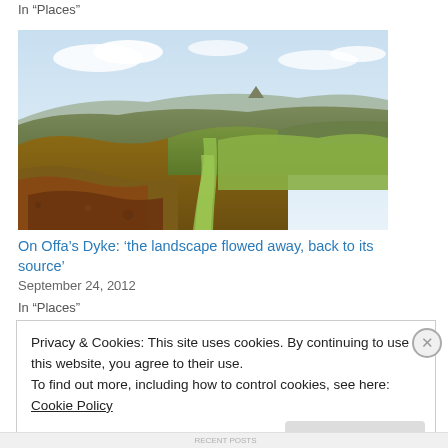In "Places"
[Figure (photo): Landscape photograph showing rolling green and brown hills with a grassy track winding through moorland under a partly cloudy sky, likely Offa's Dyke area in Wales/England border region.]
On Offa’s Dyke: ‘the landscape flowed away, back to its source’
September 24, 2012
In "Places"
Privacy & Cookies: This site uses cookies. By continuing to use this website, you agree to their use.
To find out more, including how to control cookies, see here: Cookie Policy
Close and accept